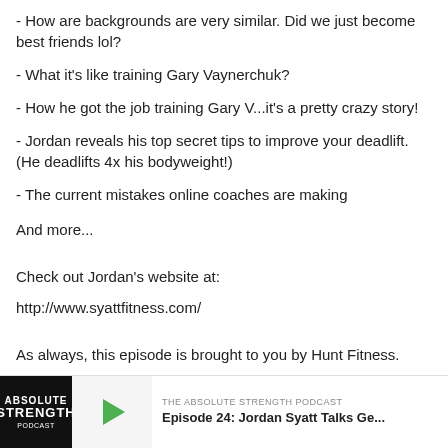- How are backgrounds are very similar. Did we just become best friends lol?
- What it's like training Gary Vaynerchuk?
- How he got the job training Gary V...it's a pretty crazy story!
- Jordan reveals his top secret tips to improve your deadlift. (He deadlifts 4x his bodyweight!)
- The current mistakes online coaches are making
And more...
Check out Jordan's website at:
http://www.syattfitness.com/
As always, this episode is brought to you by Hunt Fitness.
www.KyleHuntFitness.com
[Figure (screenshot): Podcast player bar showing Absolute Strength Podcast logo, green play button, and episode title 'Episode 24: Jordan Syatt Talks Ge...']